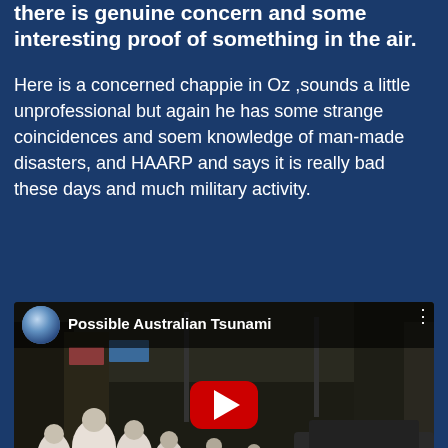there is genuine concern and some interesting proof of something in the air.
Here is a concerned chappie in Oz ,sounds a little unprofessional but again he has some strange coincidences and soem knowledge of man-made disasters, and HAARP and says it is really bad these days and much military activity.
[Figure (screenshot): Embedded YouTube video thumbnail showing 'Possible Australian Tsunami' with a crowd scene from what appears to be a tsunami disaster. The video player shows the YouTube logo circle icon, the video title, a menu dots icon, and a red play button in the center over a dark image of people running in a street.]
This has no reflection on best estimates at to whether it will happen or not, they are just facts that these anomalies are just and worthy of notice and